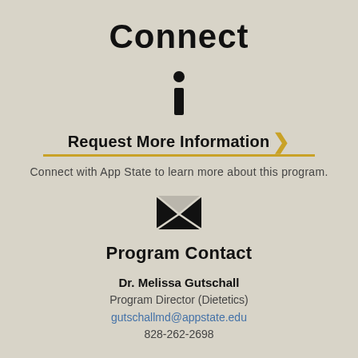Connect
[Figure (infographic): Information (i) icon — a stylized italic lowercase letter i with a dot above, rendered in black]
Request More Information
Connect with App State to learn more about this program.
[Figure (infographic): Envelope/email icon — a black envelope with an X fold pattern on the front]
Program Contact
Dr. Melissa Gutschall
Program Director (Dietetics)
gutschallmd@appstate.edu
828-262-2698